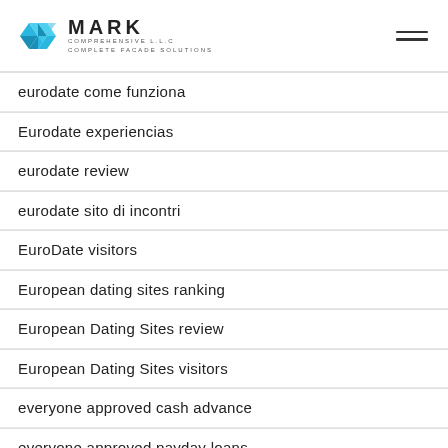MARK COMPREHENSIVE L.L.C — COMPLETE FACADE SOLUTIONS
eurodate come funziona
Eurodate experiencias
eurodate review
eurodate sito di incontri
EuroDate visitors
European dating sites ranking
European Dating Sites review
European Dating Sites visitors
everyone approved cash advance
everyone approved payday loans